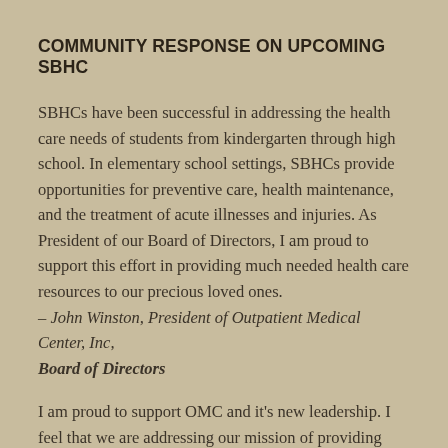COMMUNITY RESPONSE ON UPCOMING SBHC
SBHCs have been successful in addressing the health care needs of students from kindergarten through high school. In elementary school settings, SBHCs provide opportunities for preventive care, health maintenance, and the treatment of acute illnesses and injuries. As President of our Board of Directors, I am proud to support this effort in providing much needed health care resources to our precious loved ones.
– John Winston, President of Outpatient Medical Center, Inc, Board of Directors
I am proud to support OMC and it's new leadership. I feel that we are addressing our mission of providing